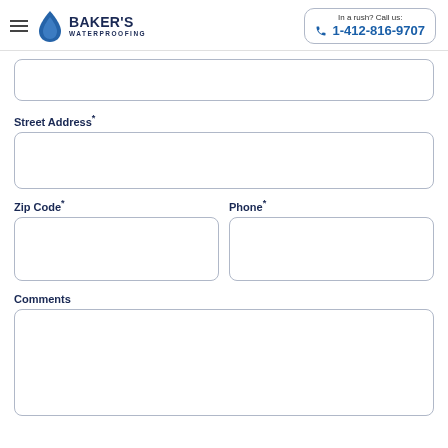Baker's Waterproofing | In a rush? Call us: 1-412-816-9707
Street Address*
Zip Code*
Phone*
Comments